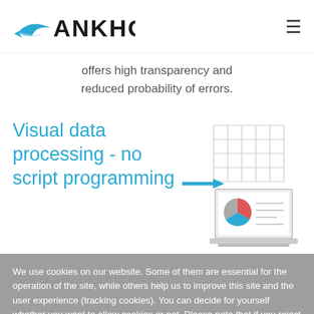[Figure (logo): Ankhor logo with stylized bird/wing mark and bold ANKHOR text]
offers high transparency and reduced probability of errors.
Visual data processing - no script programming
[Figure (illustration): Arrow pointing to a laptop with a pie chart on screen, with grid/network diagram above]
Select an operator, insert
We use cookies on our website. Some of them are essential for the operation of the site, while others help us to improve this site and the user experience (tracking cookies). You can decide for yourself whether you want to allow cookies or not. Please note that if you reject them, you may not be able to use all the functionalities of the site.